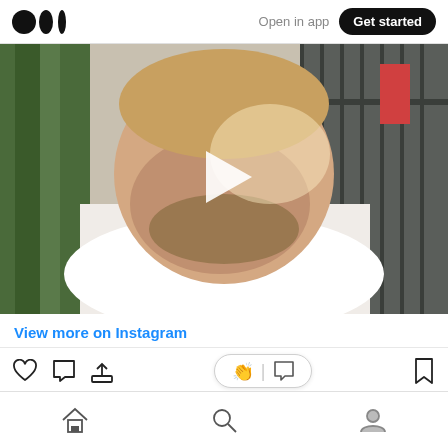Medium logo | Open in app | Get started
[Figure (photo): Video thumbnail showing a man with a beard in a white t-shirt, outdoors near a fence and trees, with a white play button overlay in the center]
View more on Instagram
[Figure (other): Action bar with heart, comment, share icons on the left; clap and comment pill in the center; bookmark icon on the right]
[Figure (other): Bottom navigation bar with home, search, and profile icons]